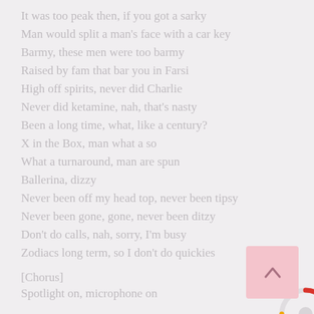It was too peak then, if you got a sarky
Man would split a man's face with a car key
Barmy, these men were too barmy
Raised by fam that bar you in Farsi
High off spirits, never did Charlie
Never did ketamine, nah, that's nasty
Been a long time, what, like a century?
X in the Box, man what a so
What a turnaround, man are spun
Ballerina, dizzy
Never been off my head top, never been tipsy
Never been gone, gone, never been ditzy
Don't do calls, nah, sorry, I'm busy
Zodiacs long term, so I don't do quickies
[Chorus]
Spotlight on, microphone on
[Figure (other): Loading spinner graphic with red, grey, and yellow arcs]